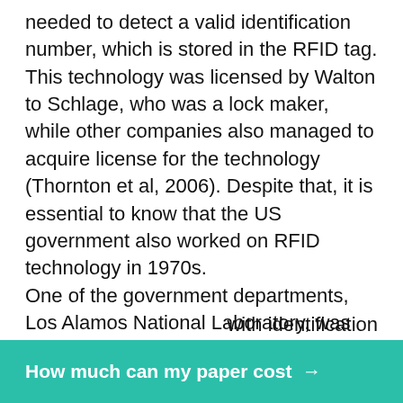needed to detect a valid identification number, which is stored in the RFID tag. This technology was licensed by Walton to Schlage, who was a lock maker, while other companies also managed to acquire license for the technology (Thornton et al, 2006). Despite that, it is essential to know that the US government also worked on RFID technology in 1970s. One of the government departments, Los Alamos National Laboratory, was requested by the US department of Energy to create a system, which could be used to track nuclear materials (Thornton et al, 2006). A scientist group devised a concept, which was used to implement a transponder in a truck and readers at secure facility gates. An antenna, which was installed on the gate, was used to wake up a transponder, which was installed in the truck. The ... with identification
[Figure (other): Green/teal call-to-action button with text 'How much can my paper cost →']